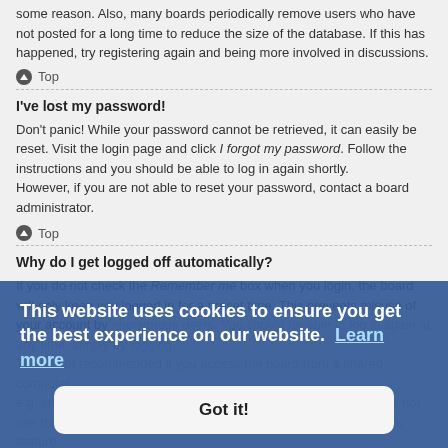some reason. Also, many boards periodically remove users who have not posted for a long time to reduce the size of the database. If this has happened, try registering again and being more involved in discussions.
Top
I've lost my password!
Don't panic! While your password cannot be retrieved, it can easily be reset. Visit the login page and click I forgot my password. Follow the instructions and you should be able to log in again shortly.
However, if you are not able to reset your password, contact a board administrator.
Top
Why do I get logged off automatically?
If you do not check the Remember me box when you login, the board will only keep you logged in for a preset time. This prevents misuse of your account by anonymous users. You should be able to log in again at any time, simply by logging. This is not recommended if you access the board from a shared computer, e.g. shared library, internet cafe, university computer, etc. If you do not see this checkbox, it means a board administrator has disabled this feature.
Top
What does the "Delete cookies" do?
This website uses cookies to ensure you get the best experience on our website. Learn more
Got it!